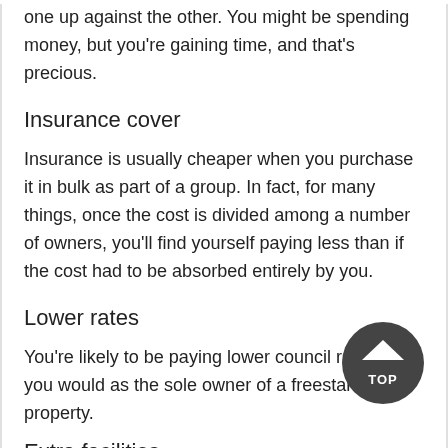one up against the other. You might be spending money, but you're gaining time, and that's precious.
Insurance cover
Insurance is usually cheaper when you purchase it in bulk as part of a group. In fact, for many things, once the cost is divided among a number of owners, you'll find yourself paying less than if the cost had to be absorbed entirely by you.
Lower rates
You're likely to be paying lower council rates than you would as the sole owner of a freestanding property.
Extra facilities